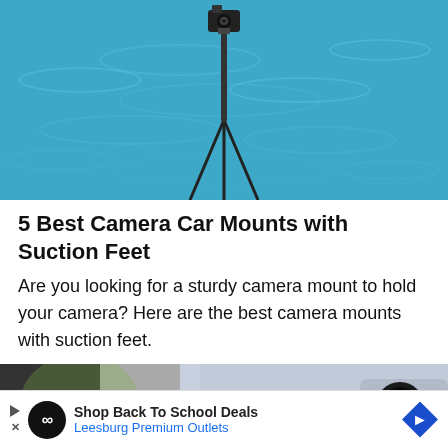[Figure (photo): A camera mounted on a tripod against a blue water/ocean background]
5 Best Camera Car Mounts with Suction Feet
Are you looking for a sturdy camera mount to hold your camera? Here are the best camera mounts with suction feet.
[Figure (photo): Close-up of the back of a smartphone showing dual camera lenses, blurred green background]
Shop Back To School Deals Leesburg Premium Outlets